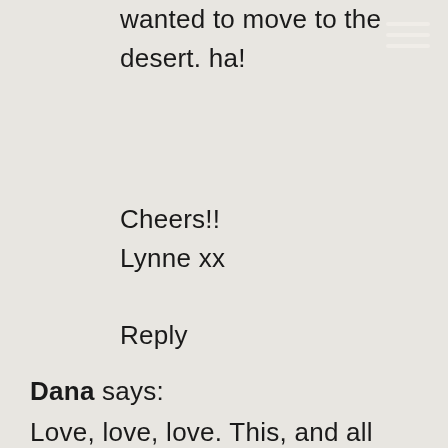wanted to move to the desert. ha!
Cheers!!
Lynne xx
Reply
Dana says:
Love, love, love. This, and all your posts!